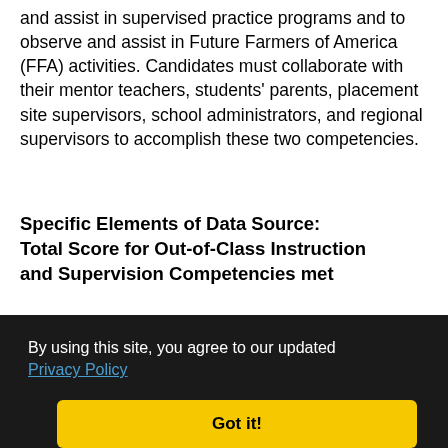and assist in supervised practice programs and to observe and assist in Future Farmers of America (FFA) activities. Candidates must collaborate with their mentor teachers, students' parents, placement site supervisors, school administrators, and regional supervisors to accomplish these two competencies.
Specific Elements of Data Source: Total Score for Out-of-Class Instruction and Supervision Competencies met
...: of that ies. n ntor teachers provide university coaches with